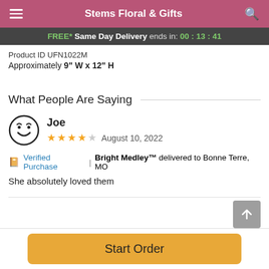Stems Floral & Gifts
FREE* Same Day Delivery ends in: 00 : 13 : 41
Product ID UFN1022M
Approximately 9" W x 12" H
What People Are Saying
Joe
★★★★☆ August 10, 2022
Verified Purchase | Bright Medley™ delivered to Bonne Terre, MO
She absolutely loved them
Start Order